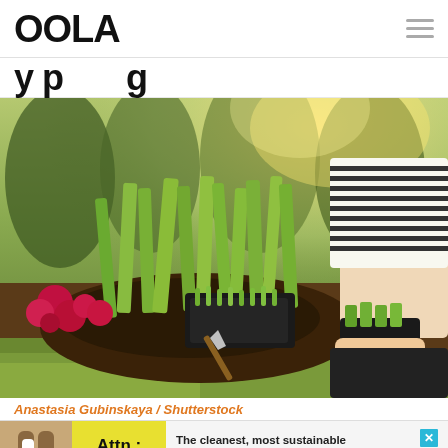OOLA
...planting...
[Figure (photo): A person in a striped shirt kneeling in a garden, planting seedlings from a black tray. Red flowers and green leafy plants visible in a garden bed with dark soil.]
Anastasia Gubinskaya / Shutterstock
[Figure (other): Advertisement banner: Image of legs, yellow block with 'Attn: Grace', text reading 'The cleanest, most sustainable incontinence care, without ever compromising on performance.']